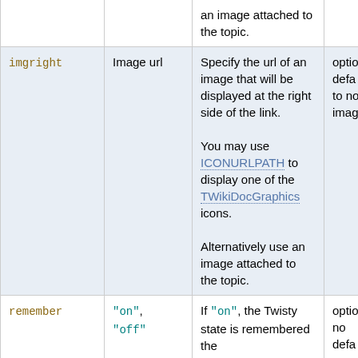| Parameter | Values | Description | Default |
| --- | --- | --- | --- |
|  |  | an image attached to the topic. |  |
| imgright | Image url | Specify the url of an image that will be displayed at the right side of the link. You may use ICONURLPATH to display one of the TWikiDocGraphics icons. Alternatively use an image attached to the topic. | optio... defa... to no... imag... |
| remember | "on", "off" | If "on", the Twisty state is remembered the | optio... no defa... |